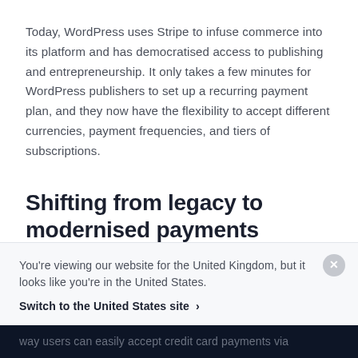Today, WordPress uses Stripe to infuse commerce into its platform and has democratised access to publishing and entrepreneurship. It only takes a few minutes for WordPress publishers to set up a recurring payment plan, and they now have the flexibility to accept different currencies, payment frequencies, and tiers of subscriptions.
Shifting from legacy to modernised payments
You're viewing our website for the United Kingdom, but it looks like you're in the United States.
Switch to the United States site ›
way users can easily accept credit card payments via